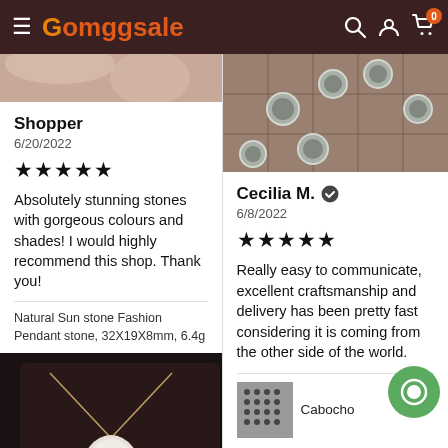Gomggsale
[Figure (photo): Partial product photo top-left, showing pink/orange stone]
Shopper
6/20/2022
★★★★★
Absolutely stunning stones with gorgeous colours and shades! I would highly recommend this shop. Thank you!
Natural Sun stone Fashion Pendant stone, 32X19X8mm, 6.4g
[Figure (photo): Pendant necklace on dark velvet display]
[Figure (photo): Metal cabochon settings on tiled surface]
Cecilia M. ✔
6/8/2022
★★★★★
Really easy to communicate, excellent craftsmanship and delivery has been pretty fast considering it is coming from the other side of the world.
Cabocho...